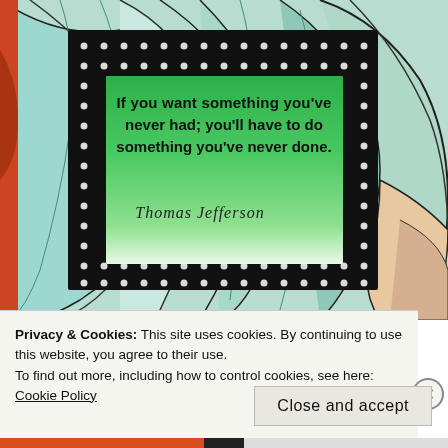[Figure (illustration): Decorative artwork showing swirling leaf/feather patterns in teal, green, blue, and white with black outlines. In the center is a black frame with white polka dots surrounding a green gradient card bearing a Thomas Jefferson quote: 'If you want something you've never had; you'll have to do something you've never done.' with 'Thomas Jefferson' in cursive script below.]
Privacy & Cookies: This site uses cookies. By continuing to use this website, you agree to their use.
To find out more, including how to control cookies, see here:
Cookie Policy
Close and accept